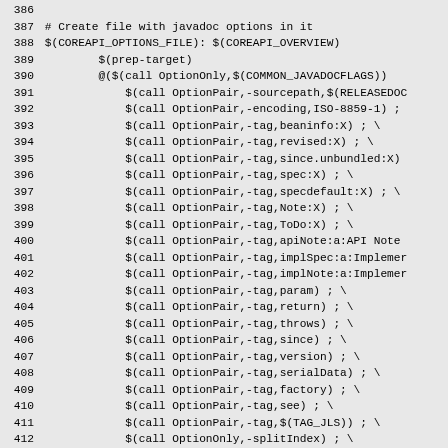386
387 # Create file with javadoc options in it
388 $(COREAPI_OPTIONS_FILE): $(COREAPI_OVERVIEW)
389         $(prep-target)
390         @($(call OptionOnly,$(COMMON_JAVADOCFLAGS))
391             $(call OptionPair,-sourcepath,$(RELEASEDOC
392             $(call OptionPair,-encoding,ISO-8859-1) ;
393             $(call OptionPair,-tag,beaninfo:X) ; \
394             $(call OptionPair,-tag,revised:X) ; \
395             $(call OptionPair,-tag,since.unbundled:X)
396             $(call OptionPair,-tag,spec:X) ; \
397             $(call OptionPair,-tag,specdefault:X) ; \
398             $(call OptionPair,-tag,Note:X) ; \
399             $(call OptionPair,-tag,ToDo:X) ; \
400             $(call OptionPair,-tag,apiNote:a:API Note
401             $(call OptionPair,-tag,implSpec:a:Implemer
402             $(call OptionPair,-tag,implNote:a:Implemer
403             $(call OptionPair,-tag,param) ; \
404             $(call OptionPair,-tag,return) ; \
405             $(call OptionPair,-tag,throws) ; \
406             $(call OptionPair,-tag,since) ; \
407             $(call OptionPair,-tag,version) ; \
408             $(call OptionPair,-tag,serialData) ; \
409             $(call OptionPair,-tag,factory) ; \
410             $(call OptionPair,-tag,see) ; \
411             $(call OptionPair,-tag,$(TAG_JLS)) ; \
412             $(call OptionOnly,-splitIndex) ; \
413             $(call OptionPair,-overview,$(COREAPI_OVER
414             $(call OptionPair,-doctitle,$(COREAPI_DOCT
415             $(call OptionPair,-windowtitle,$(COREAPI_W
416             $(call OptionPair,-header,$(COREAPI_HEADER